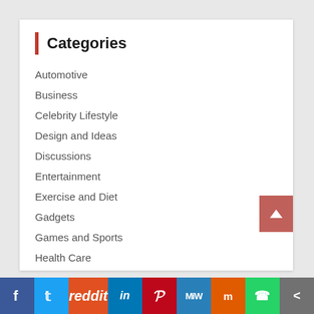Categories
Automotive
Business
Celebrity Lifestyle
Design and Ideas
Discussions
Entertainment
Exercise and Diet
Gadgets
Games and Sports
Health Care
Home Decor
Internet
Lifestyle